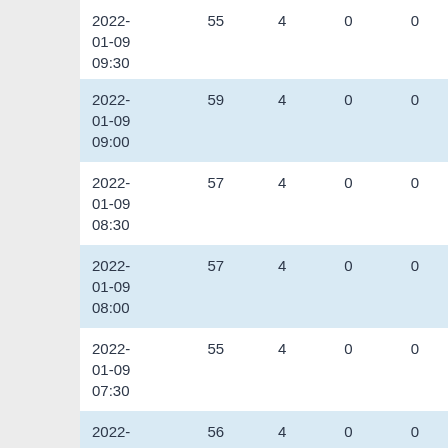| Date | Col1 | Col2 | Col3 | Col4 |
| --- | --- | --- | --- | --- |
| 2022-01-09 09:30 | 55 | 4 | 0 | 0 |
| 2022-01-09 09:00 | 59 | 4 | 0 | 0 |
| 2022-01-09 08:30 | 57 | 4 | 0 | 0 |
| 2022-01-09 08:00 | 57 | 4 | 0 | 0 |
| 2022-01-09 07:30 | 55 | 4 | 0 | 0 |
| 2022-01-09 07:00 | 56 | 4 | 0 | 0 |